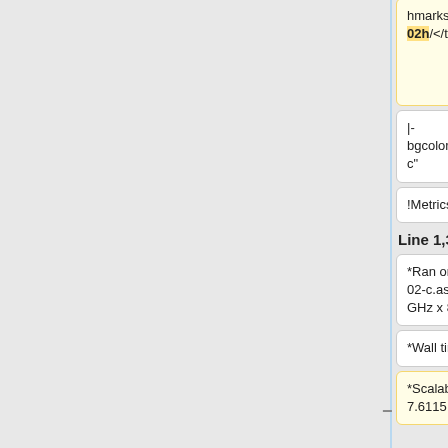hmarks/v9-01-02h/</tt>
hmarks/v9-01-02/v9-01-02h.tar.gz</tt>
|- bgcolor="#cccccc"
|- bgcolor="#cccccc"
!Metrics
!Metrics
Line 1,354:
Line 1,368:
*Ran on 8 CPUs of terra-02-c.as.harvard.edu (2.659 GHz x 8 CPU)
*Ran on 8 CPUs of terra-02-c.as.harvard.edu (2.659 GHz x 8 CPU)
*Wall time: 01:32
*Wall time: 01:32
*Scalability: 7.6115
* [[Scalability|CPU time / wall time]]: 7.6115